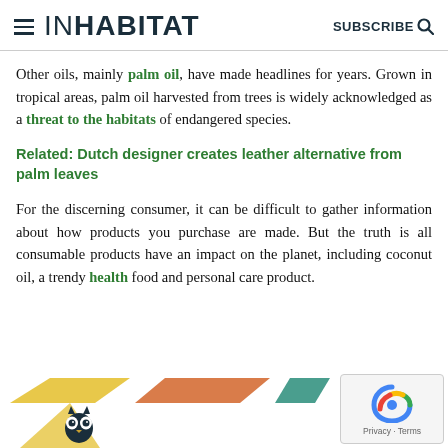INHABITAT — SUBSCRIBE
Other oils, mainly palm oil, have made headlines for years. Grown in tropical areas, palm oil harvested from trees is widely acknowledged as a threat to the habitats of endangered species.
Related: Dutch designer creates leather alternative from palm leaves
For the discerning consumer, it can be difficult to gather information about how products you purchase are made. But the truth is all consumable products have an impact on the planet, including coconut oil, a trendy health food and personal care product.
[Figure (illustration): Decorative colored parallelogram shapes at the bottom of the page, and a partial owl logo in the bottom left corner. A reCAPTCHA badge is in the bottom right corner.]